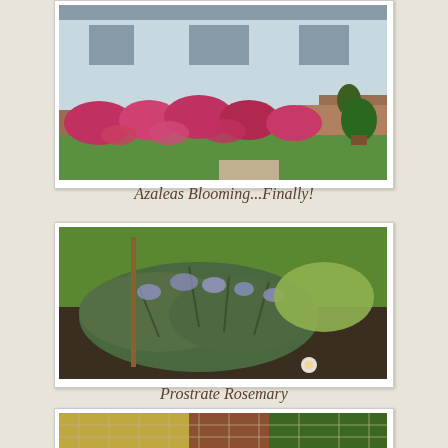[Figure (photo): House exterior with blooming pink/red azalea bushes along the front, green lawn, porch with chairs and potted plants]
Azaleas Blooming...Finally!
[Figure (photo): Close-up of prostrate rosemary plant with small blue/purple flowers, growing low and sprawling, with green lawn in background]
Prostrate Rosemary
[Figure (photo): Garden scene viewed through wire fencing/trellis, with plants and outdoor scene beyond]